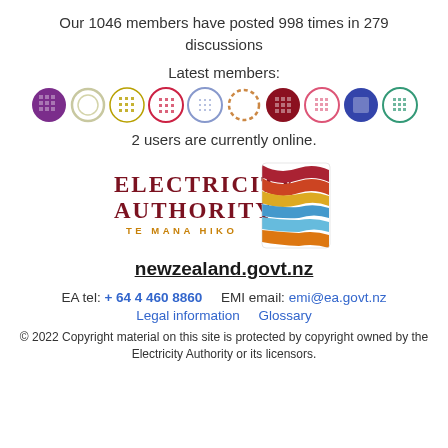Our 1046 members have posted 998 times in 279 discussions
Latest members:
[Figure (illustration): Row of 10 circular avatar icons in various colors and patterns representing latest members]
2 users are currently online.
[Figure (logo): Electricity Authority Te Mana Hiko logo with colorful wave stripes graphic]
newzealand.govt.nz
EA tel: + 64 4 460 8860     EMI email: emi@ea.govt.nz
Legal information     Glossary
© 2022 Copyright material on this site is protected by copyright owned by the Electricity Authority or its licensors.